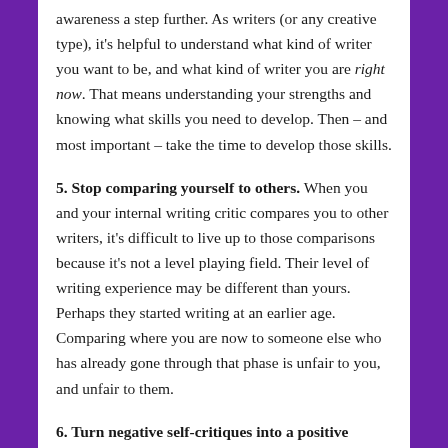awareness a step further. As writers (or any creative type), it's helpful to understand what kind of writer you want to be, and what kind of writer you are right now. That means understanding your strengths and knowing what skills you need to develop. Then – and most important – take the time to develop those skills.
5. Stop comparing yourself to others. When you and your internal writing critic compares you to other writers, it's difficult to live up to those comparisons because it's not a level playing field. Their level of writing experience may be different than yours. Perhaps they started writing at an earlier age. Comparing where you are now to someone else who has already gone through that phase is unfair to you, and unfair to them.
6. Turn negative self-critiques into a positive learning